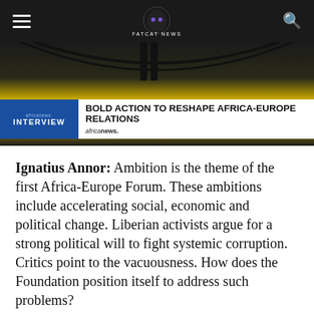FATCAT NEWS
[Figure (screenshot): TV news screenshot showing a news ticker with 'BOLD ACTION TO RESHAPE AFRICA-EUROPE RELATIONS' on Africa News Interview segment, with africanews branding, on a yellow/dark studio background.]
Ignatius Annor: Ambition is the theme of the first Africa-Europe Forum. These ambitions include accelerating social, economic and political change. Liberian activists argue for a strong political will to fight systemic corruption. Critics point to the vacuousness. How does the Foundation position itself to address such problems?
Ellen Johnson Sirleaf: “Liberia has a strong relationship. Both with European countries and with all African countries. And in